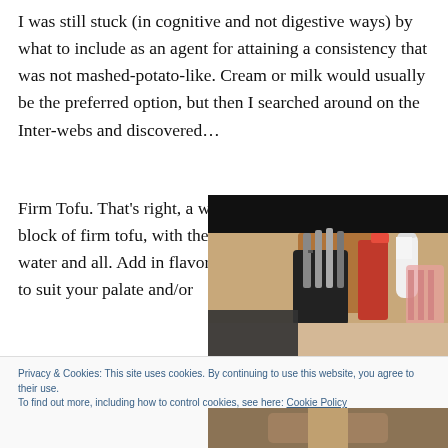I was still stuck (in cognitive and not digestive ways) by what to include as an agent for attaining a consistency that was not mashed-potato-like. Cream or milk would usually be the preferred option, but then I searched around on the Inter-webs and discovered…
Firm Tofu. That's right, a whole block of firm tofu, with the water and all. Add in flavorings to suit your palate and/or
[Figure (photo): Photo of kitchen utensils including knives in a block holder, red cutting board, and other items on a counter]
Privacy & Cookies: This site uses cookies. By continuing to use this website, you agree to their use.
To find out more, including how to control cookies, see here: Cookie Policy
[Figure (photo): Partial photo visible at bottom right of page]